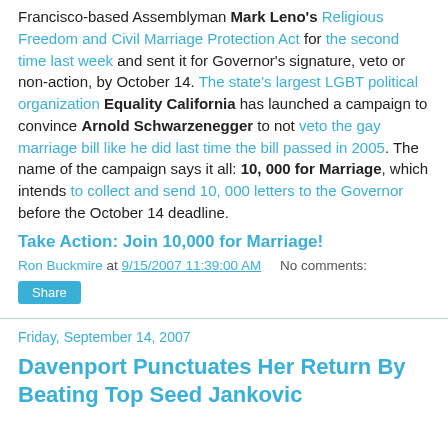Francisco-based Assemblyman Mark Leno's Religious Freedom and Civil Marriage Protection Act for the second time last week and sent it for Governor's signature, veto or non-action, by October 14. The state's largest LGBT political organization Equality California has launched a campaign to convince Arnold Schwarzenegger to not veto the gay marriage bill like he did last time the bill passed in 2005. The name of the campaign says it all: 10, 000 for Marriage, which intends to collect and send 10, 000 letters to the Governor before the October 14 deadline.
Take Action: Join 10,000 for Marriage!
Ron Buckmire at 9/15/2007 11:39:00 AM    No comments:
Share
Friday, September 14, 2007
Davenport Punctuates Her Return By Beating Top Seed Jankovic